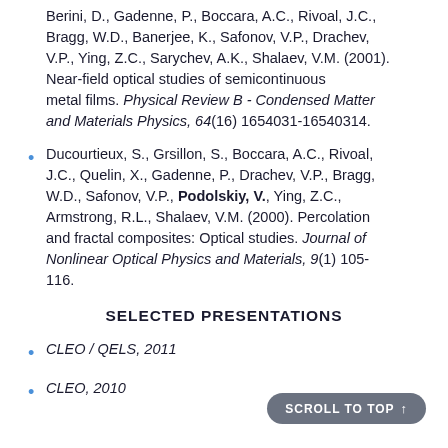Berini, D., Gadenne, P., Boccara, A.C., Rivoal, J.C., Bragg, W.D., Banerjee, K., Safonov, V.P., Drachev, V.P., Ying, Z.C., Sarychev, A.K., Shalaev, V.M. (2001). Near-field optical studies of semicontinuous metal films. Physical Review B - Condensed Matter and Materials Physics, 64(16) 1654031-16540314.
Ducourtieux, S., Grsillon, S., Boccara, A.C., Rivoal, J.C., Quelin, X., Gadenne, P., Drachev, V.P., Bragg, W.D., Safonov, V.P., Podolskiy, V., Ying, Z.C., Armstrong, R.L., Shalaev, V.M. (2000). Percolation and fractal composites: Optical studies. Journal of Nonlinear Optical Physics and Materials, 9(1) 105-116.
SELECTED PRESENTATIONS
CLEO / QELS, 2011
CLEO, 2010